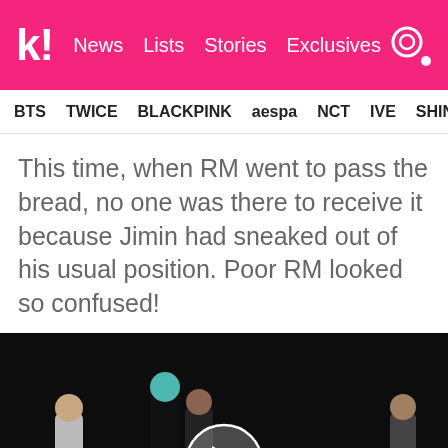k! News Lists Stories Exclusives
BTS TWICE BLACKPINK aespa NCT IVE SHIN
This time, when RM went to pass the bread, no one was there to receive it because Jimin had sneaked out of his usual position. Poor RM looked so confused!
[Figure (screenshot): Video thumbnail showing BTS members on a concert stage in dark lighting. A play button circle is overlaid in the center. Several members in black outfits visible, stage lights in background.]